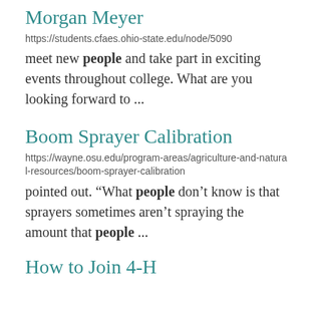Morgan Meyer
https://students.cfaes.ohio-state.edu/node/5090
meet new people and take part in exciting events throughout college. What are you looking forward to ...
Boom Sprayer Calibration
https://wayne.osu.edu/program-areas/agriculture-and-natural-resources/boom-sprayer-calibration
pointed out. “What people don’t know is that sprayers sometimes aren’t spraying the amount that people ...
How to Join 4-H